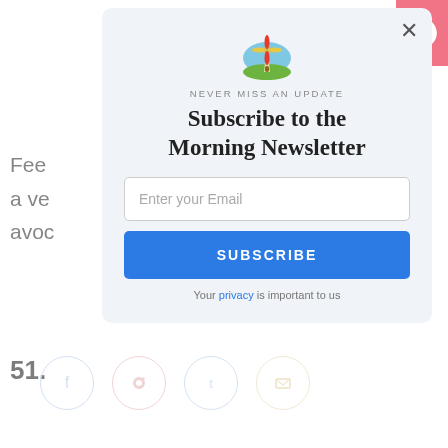Fee with a ve avoc
51.
[Figure (screenshot): Newsletter subscription modal popup with windmill logo, tagline 'NEVER MISS AN UPDATE', title 'Subscribe to the Morning Newsletter', email input field, SUBSCRIBE button, and privacy note. Background shows partial article text and social share buttons.]
NEVER MISS AN UPDATE
Subscribe to the Morning Newsletter
Enter your Email
SUBSCRIBE
Your privacy is important to us